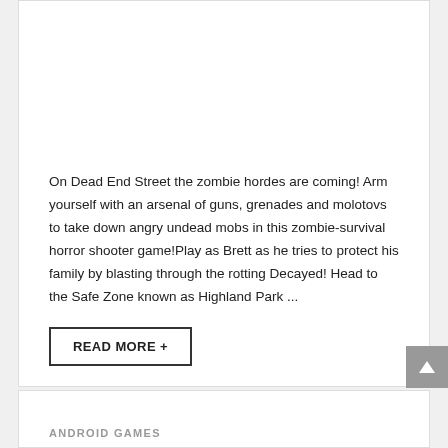On Dead End Street the zombie hordes are coming! Arm yourself with an arsenal of guns, grenades and molotovs to take down angry undead mobs in this zombie-survival horror shooter game!Play as Brett as he tries to protect his family by blasting through the rotting Decayed! Head to the Safe Zone known as Highland Park ...
READ MORE +
ANDROID GAMES